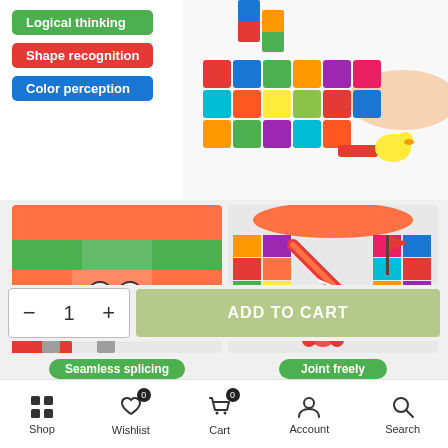[Figure (photo): Product feature badges (Logical thinking, Shape recognition, Color perception) on left; colorful building blocks with child's hand on right]
[Figure (photo): Close-up of colorful building blocks with cartoon face, captioned 'Seamless splicing']
[Figure (photo): Marble run track with colorful blocks, captioned 'Joint freely']
Type1 / Multi
- 1 +
ADD TO CART
Shop  Wishlist  Cart  Account  Search